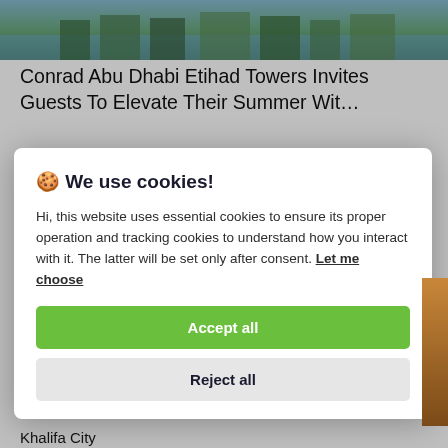[Figure (photo): Aerial or landscape photo of Abu Dhabi showing water and greenery at the top of the page]
Conrad Abu Dhabi Etihad Towers Invites Guests To Elevate Their Summer Wit…
[Figure (screenshot): Cookie consent modal dialog overlay on the webpage]
Khalifa City